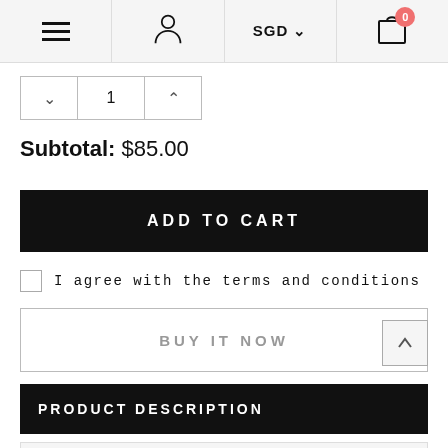Navigation bar with hamburger menu, user icon, SGD currency selector, and cart (0 items)
1
Subtotal: $85.00
ADD TO CART
I agree with the terms and conditions
BUY IT NOW
PRODUCT DESCRIPTION
TERMS & CONDITIONS/SHIPPING & RETURNS